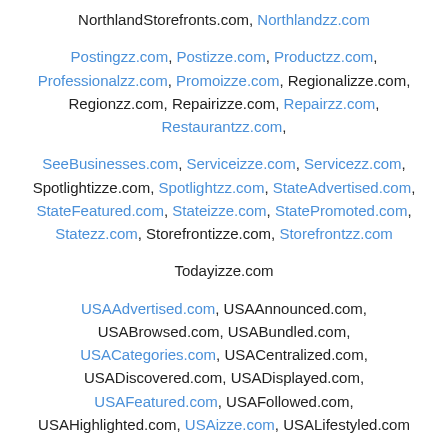NorthlandStorefronts.com, Northlandzz.com
Postingzz.com, Postizze.com, Productzz.com, Professionalzz.com, Promoizze.com, Regionalizze.com, Regionzz.com, Repairizze.com, Repairzz.com, Restaurantzz.com,
SeeBusinesses.com, Serviceizze.com, Servicezz.com, Spotlightizze.com, Spotlightzz.com, StateAdvertised.com, StateFeatured.com, Stateizze.com, StatePromoted.com, Statezz.com, Storefrontizze.com, Storefrontzz.com
Todayizze.com
USAAdvertised.com, USAAnnounced.com, USABrowsed.com, USABundled.com, USACategories.com, USACentralized.com, USADiscovered.com, USADisplayed.com, USAFeatured.com, USAFollowed.com, USAHighlighted.com, USAizze.com, USALifestyled.com